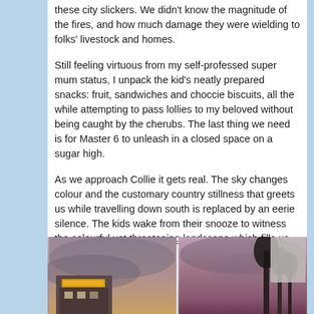these city slickers. We didn't know the magnitude of the fires, and how much damage they were wielding to folks' livestock and homes.
Still feeling virtuous from my self-professed super mum status, I unpack the kid's neatly prepared snacks: fruit, sandwiches and choccie biscuits, all the while attempting to pass lollies to my beloved without being caught by the cherubs. The last thing we need is for Master 6 to unleash in a closed space on a sugar high.
As we approach Collie it gets real. The sky changes colour and the customary country stillness that greets us while travelling down south is replaced by an eerie silence. The kids wake from their snooze to witness the colourful yet threatening landscape which fills us all with apprehension.
[Figure (photo): Two side-by-side photographs showing dramatic smoky skies. Left photo shows a building with signs under a thick grey-purple smoke-filled sky. Right photo shows trees silhouetted against a pink-purple smoky sky.]